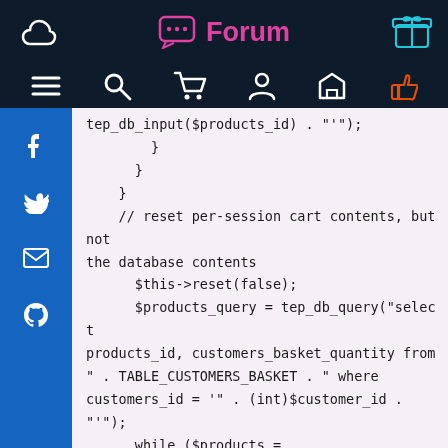Forum
[Figure (screenshot): Navigation icons: hamburger menu, search, cart, user profile, home/envelope, thumbs up]
tep_db_input($products_id) . "'");
        }
      }
    }
    // reset per-session cart contents, but not the database contents
      $this->reset(false);
      $products_query = tep_db_query("select products_id, customers_basket_quantity from " . TABLE_CUSTOMERS_BASKET . " where customers_id = '" . (int)$customer_id . "'");
      while ($products = tep_db_fetch_array($products_query)) {
          $this->contents[$products['products_id']] =
          array('qty' =>